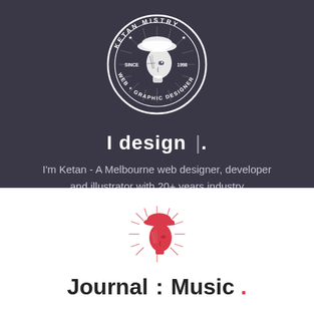[Figure (logo): Circular badge logo for Ketan Mistry, web + graphic designer, since 1998, featuring a stylized face illustration in white on dark background]
I design |.
I'm Ketan - A Melbourne web designer, developer and illustrator with 20+ years industry experience.
[Figure (logo): Red illustration of a face with a cap and sunburst rays, Journal Music logo mark]
Journal : Music .